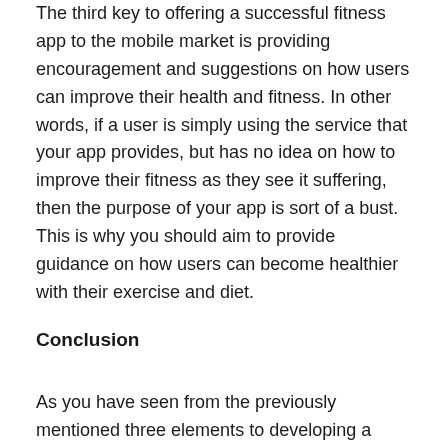The third key to offering a successful fitness app to the mobile market is providing encouragement and suggestions on how users can improve their health and fitness. In other words, if a user is simply using the service that your app provides, but has no idea on how to improve their fitness as they see it suffering, then the purpose of your app is sort of a bust. This is why you should aim to provide guidance on how users can become healthier with their exercise and diet.
Conclusion
As you have seen from the previously mentioned three elements to developing a fitness app, creating such a mobile offering can be more complex than it initially seems. By providing photo and video demonstrations, along with helpful suggestions and the ability to accurately measure caloric intake, you will be providing